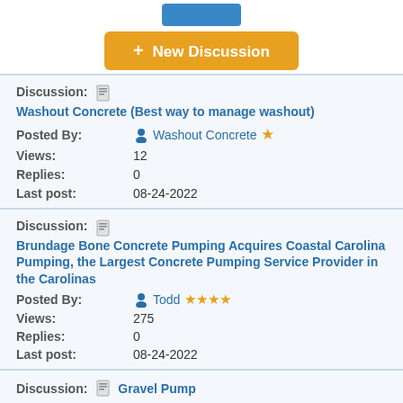[Figure (screenshot): Blue button at top (partially visible)]
+ New Discussion
Discussion: Washout Concrete (Best way to manage washout)
Posted By: Washout Concrete ★
Views: 12
Replies: 0
Last post: 08-24-2022
Discussion: Brundage Bone Concrete Pumping Acquires Coastal Carolina Pumping, the Largest Concrete Pumping Service Provider in the Carolinas
Posted By: Todd ★★★★
Views: 275
Replies: 0
Last post: 08-24-2022
Discussion: Gravel Pump
Posted By: cmzoompump ★